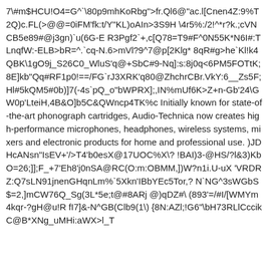7\#m$HCU!O4=G^`\80p9mhKoRbg">fr.Ql6@"ac.l[Cnen4Z:9%T2Q)c.FL(>@@=0iFM'fk:t/Y"KL)oAIn>3S9H \4r5%:/2!^*r?k.;cVNCB5e89#@j3gn)`u(6G-E R3Pgf2`+,c[Q78=T9#F^0N55K*N6I#:TLnqfW:-ELB>bR=^.`cq-N.6>mVl?9^7@p[2Klg* 8qR#g>he`Kl!k4QBK\1gO9j_S26C0_WluS'q@+SbC#9-Nq]:s:8j0q<6PM5FOTtK; 8E]kb"Qq#RF1p0!==/FG`rJ3XRK'q80@ZhchrCBr.VkY:6__Zs5F;Hl#5kQM5#0b)]7(-4s`pQ_o"bWPRX];,IN%mUf6K>Z+n-Gb'24\GW0p'LteiH,4B&O]b5C&QWncp4TK%c Initially known for state-of-the-art phonograph cartridges, Audio-Technica now creates high-performance microphones, headphones, wireless systems, mixers and electronic products for home and professional use. )JDHcANsn"IsEV+'/>T4'b0esX@17UOC%X\? !BAI)3-@HS/?l&3)KbO=26;]];F_+7'Eh8'j0nSA@RC(O:m:OBMM,])W?n1i.U-uX 'VRDRZ:Q7sLN91jnenGHqnLm%`5Xkn'IBbYEc5Tor,? N`NG^3sWGbS$=2,]mCW76Q_Sg(3L*5e;t@#8ARj @)qDZ#\ (893'=/#I/[WMYm4kqr-?gH@u!R fI7]&-N^GB(Clb9(1\) {8N:AZl;!G6"\bH73RLlCccikC@B*XNg_uMHi:aWX>l_T